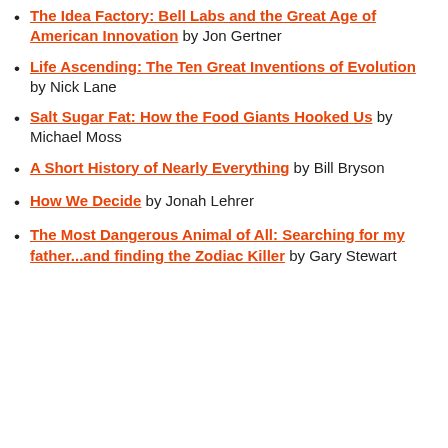The Idea Factory: Bell Labs and the Great Age of American Innovation by Jon Gertner
Life Ascending: The Ten Great Inventions of Evolution by Nick Lane
Salt Sugar Fat: How the Food Giants Hooked Us by Michael Moss
A Short History of Nearly Everything by Bill Bryson
How We Decide by Jonah Lehrer
The Most Dangerous Animal of All: Searching for my father...and finding the Zodiac Killer by Gary Stewart